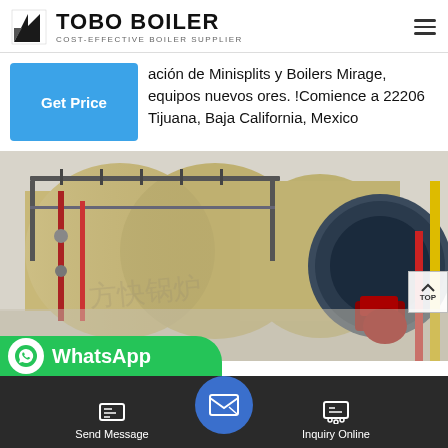TOBO BOILER — COST-EFFECTIVE BOILER SUPPLIER
ación de Minisplits y Boilers Mirage, equipos nuevos ores. !Comience a 22206 Tijuana, Baja California, Mexico
[Figure (photo): Industrial boilers in a facility with scaffolding, pipes, and equipment. Large cylindrical boilers in beige/tan color with blue front cap and red burner components. Yellow and red pipes visible on right.]
WhatsApp
Send Message | Inquiry Online